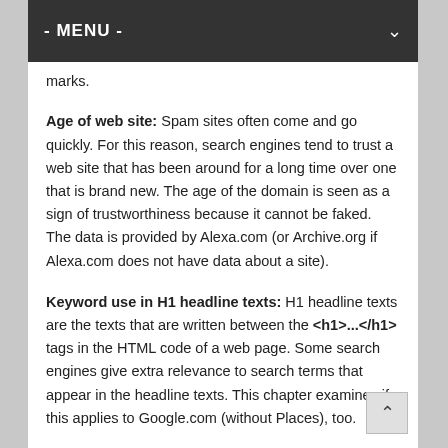- MENU -
marks.
Age of web site: Spam sites often come and go quickly. For this reason, search engines tend to trust a web site that has been around for a long time over one that is brand new. The age of the domain is seen as a sign of trustworthiness because it cannot be faked. The data is provided by Alexa.com (or Archive.org if Alexa.com does not have data about a site).
Keyword use in H1 headline texts: H1 headline texts are the texts that are written between the <h1>...</h1> tags in the HTML code of a web page. Some search engines give extra relevance to search terms that appear in the headline texts. This chapter examines if this applies to Google.com (without Places), too.
Example: <h1>your very big headline text</h1>
Keyword use in domain name: The domain name is the main